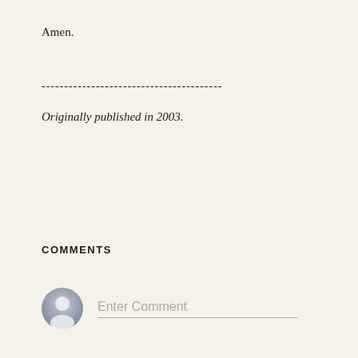Amen.
----------------------------------------
Originally published in 2003.
COMMENTS
[Figure (illustration): Generic user avatar icon - circular grey silhouette of a person]
Enter Comment